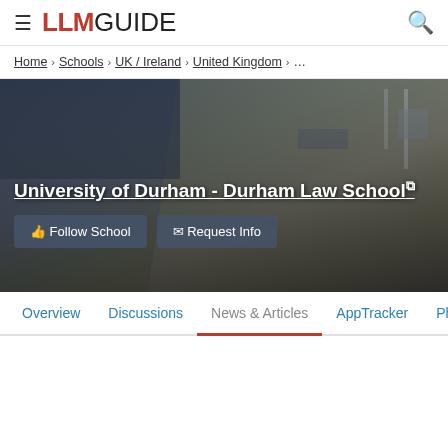LLM GUIDE
Home > Schools > UK / Ireland > United Kingdom > ...
[Figure (photo): Exterior photo of Durham Law School building, modern architecture with angular design, dark tones]
University of Durham - Durham Law School
Follow School   Request Info
Overview   Discussions   News & Articles   AppTracker   Pho...